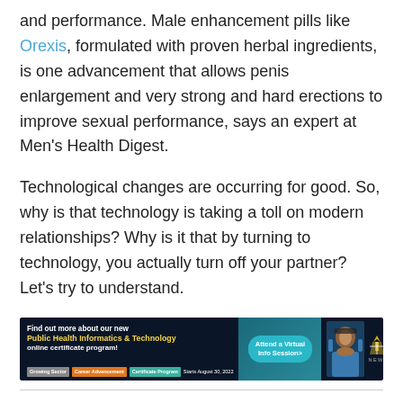and performance. Male enhancement pills like Orexis, formulated with proven herbal ingredients, is one advancement that allows penis enlargement and very strong and hard erections to improve sexual performance, says an expert at Men’s Health Digest.
Technological changes are occurring for good. So, why is that technology is taking a toll on modern relationships? Why is it that by turning to technology, you actually turn off your partner? Let’s try to understand.
[Figure (other): Dominican University New York advertisement banner for Public Health Informatics & Technology online certificate program. Includes text: Find out more about our new Public Health Informatics & Technology online certificate program! Attend a Virtual Info Session>. Tags: Growing Sector, Career Advancement, Certificate Program, Starts August 30, 2022.]
More Smartphone Time
Checking your smartphone to see if you’ve received any